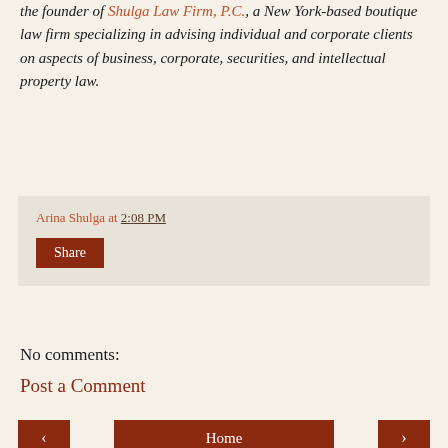the founder of Shulga Law Firm, P.C., a New York-based boutique law firm specializing in advising individual and corporate clients on aspects of business, corporate, securities, and intellectual property law.
Arina Shulga at 2:08 PM
Share
No comments:
Post a Comment
< Home >
View web version
Powered by Blogger.